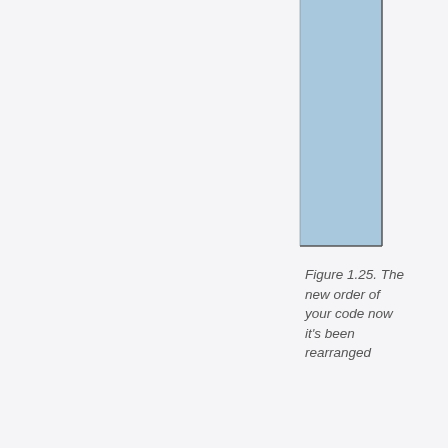[Figure (other): A tall vertical rectangle bar filled with light blue color, appearing to be the top and lower portion of a bar chart bar. The bar has a dark border outline at the bottom and right side. The bar appears to extend from the top of the page downward to approximately mid-page.]
Figure 1.25. The new order of your code now it's been rearranged